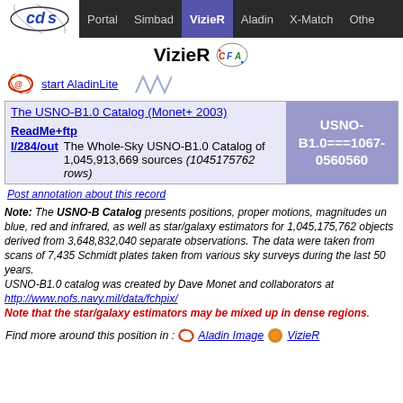Portal | Simbad | VizieR | Aladin | X-Match | Other
VizieR
start AladinLite
| ID | Description | Identifier |
| --- | --- | --- |
| I/284/out | The USNO-B1.0 Catalog (Monet+ 2003) ReadMe+ftp — The Whole-Sky USNO-B1.0 Catalog of 1,045,913,669 sources (1045175762 rows) | USNO-B1.0===1067-0560560 |
Post annotation about this record
Note: The USNO-B Catalog presents positions, proper motions, magnitudes un blue, red and infrared, as well as star/galaxy estimators for 1,045,175,762 objects derived from 3,648,832,040 separate observations. The data were taken from scans of 7,435 Schmidt plates taken from various sky surveys during the last 50 years.
USNO-B1.0 catalog was created by Dave Monet and collaborators at http://www.nofs.navy.mil/data/fchpix/
Note that the star/galaxy estimators may be mixed up in dense regions.
Find more around this position in : Aladin Image VizieR